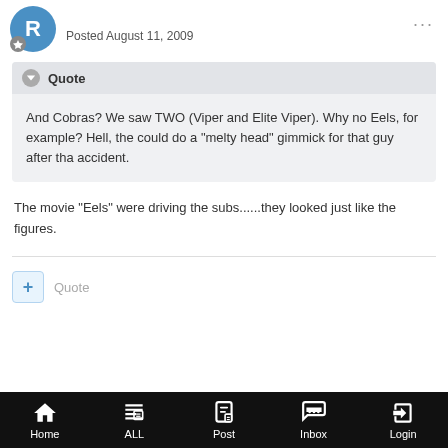Posted August 11, 2009
And Cobras? We saw TWO (Viper and Elite Viper). Why no Eels, for example? Hell, the could do a "melty head" gimmick for that guy after tha accident.
The movie "Eels" were driving the subs......they looked just like the figures.
Home  ALL  Post  Inbox  Login